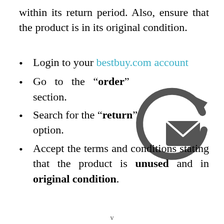within its return period. Also, ensure that the product is in its original condition.
Login to your bestbuy.com account
Go to the "order" section.
Search for the "return" option.
Accept the terms and conditions stating that the product is unused and in original condition.
[Figure (illustration): Return/email icon: circular arrow with an envelope icon inside, dark grey color]
v